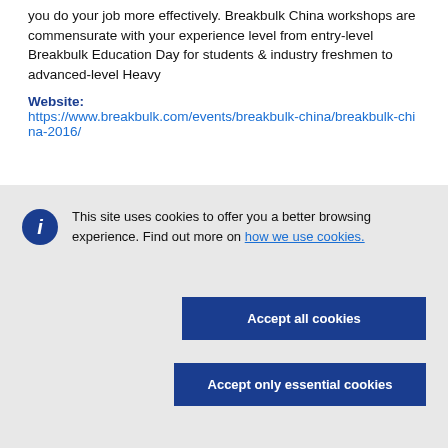you do your job more effectively. Breakbulk China workshops are commensurate with your experience level from entry-level Breakbulk Education Day for students & industry freshmen to advanced-level Heavy
Website:
https://www.breakbulk.com/events/breakbulk-china/breakbulk-china-2016/
This site uses cookies to offer you a better browsing experience. Find out more on how we use cookies.
Accept all cookies
Accept only essential cookies